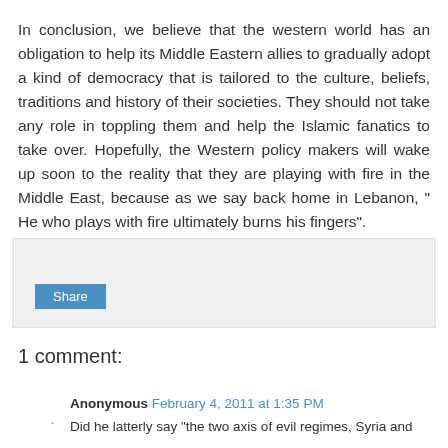In conclusion, we believe that the western world has an obligation to help its Middle Eastern allies to gradually adopt a kind of democracy that is tailored to the culture, beliefs, traditions and history of their societies. They should not take any role in toppling them and help the Islamic fanatics to take over. Hopefully, the Western policy makers will wake up soon to the reality that they are playing with fire in the Middle East, because as we say back home in Lebanon, " He who plays with fire ultimately burns his fingers".
[Figure (other): Share button widget area with light gray background]
1 comment:
Anonymous February 4, 2011 at 1:35 PM
Did he latterly say "the two axis of evil regimes, Syria and